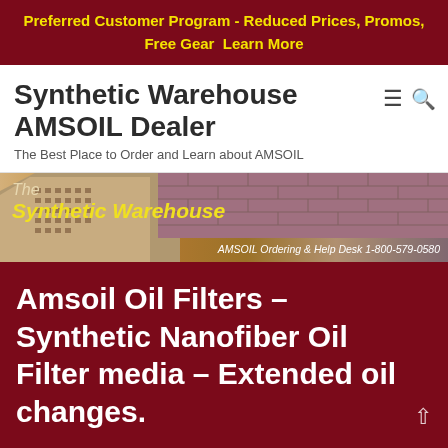Preferred Customer Program - Reduced Prices, Promos, Free Gear  Learn More
Synthetic Warehouse AMSOIL Dealer
The Best Place to Order and Learn about AMSOIL
[Figure (illustration): The Synthetic Warehouse banner with building illustration, brick pattern background, and text: The Synthetic Warehouse, AMSOIL Ordering & Help Desk 1-800-579-0580]
Amsoil Oil Filters – Synthetic Nanofiber Oil Filter media – Extended oil changes.